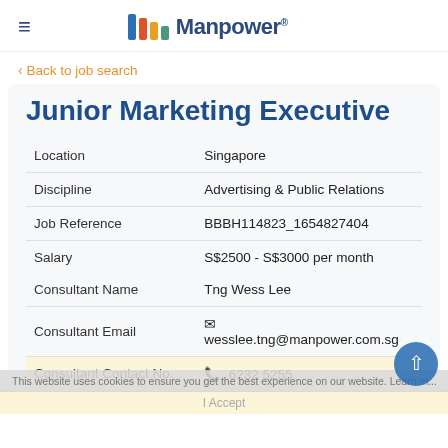[Figure (logo): Manpower logo with colorful vertical bars and text 'Manpower']
< Back to job search
Junior Marketing Executive
| Location | Singapore |
| Discipline | Advertising & Public Relations |
| Job Reference | BBBH114823_1654827404 |
| Salary | S$2500 - S$3000 per month |
| Consultant Name | Tng Wess Lee |
| Consultant Email | wesslee.tng@manpower.com.sg |
| Consultant Contact No. | 6232 5255 |
This website uses cookies to ensure you get the best experience on our website. Learn m...
I Accept